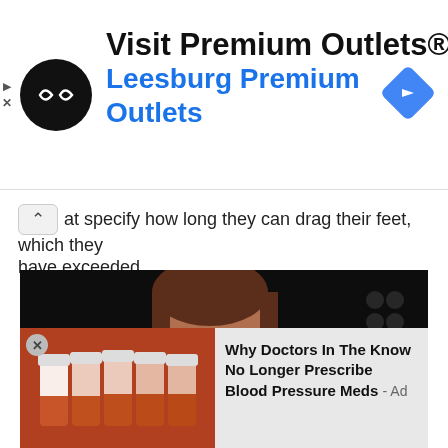[Figure (screenshot): Advertisement banner for Visit Premium Outlets® / Leesburg Premium Outlets with circular black logo, navigation icon]
at specify how long they can drag their feet, which they have exceeded.
[Figure (photo): Woman speaking at a microphone with an American flag in the background, dark background]
[Figure (screenshot): Advertisement showing prescription medicine bottles with text: Why Doctors In The Know No Longer Prescribe Blood Pressure Meds - Ad]